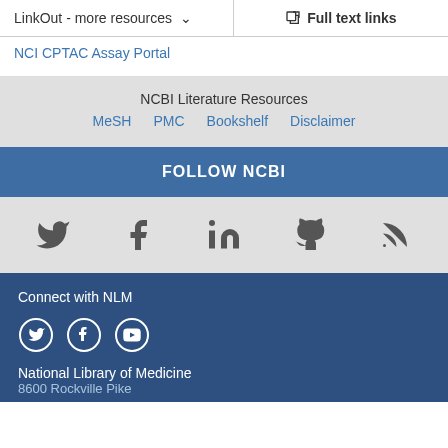LinkOut - more resources ∨   Full text links
NCI CPTAC Assay Portal
NCBI Literature Resources
MeSH   PMC   Bookshelf   Disclaimer
FOLLOW NCBI
[Figure (other): Social media icons: Twitter, Facebook, LinkedIn, GitHub, RSS]
Connect with NLM
[Figure (other): Social media icons in circles: Twitter, Facebook, YouTube]
National Library of Medicine
8600 Rockville Pike